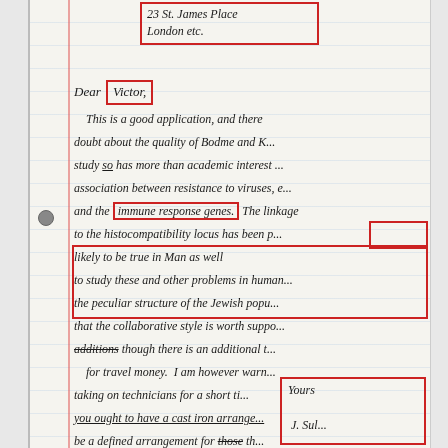23 St. James Place
London etc.
Dear Victor,
This is a good application, and there is no doubt about the quality of Bodme and K... study so has more than academic interest ... association between resistance to viruses, e... and the immune response genes. The linkage to the histocompatibility locus has been p... likely to be true in Man as well ... to study these and other problems in human... the peculiar structure of the Jewish popu... that the collaborative style is worth suppo... though there is an additional ... for travel money. I am however warn... taking on technicians for a short ti... you ought to have a cast iron arrange... be a defined arrangement for those th... completion. Similarly no student or por... should be taken on at a time when this ... might overrun the termination date. I hope this is what you want.
Yours